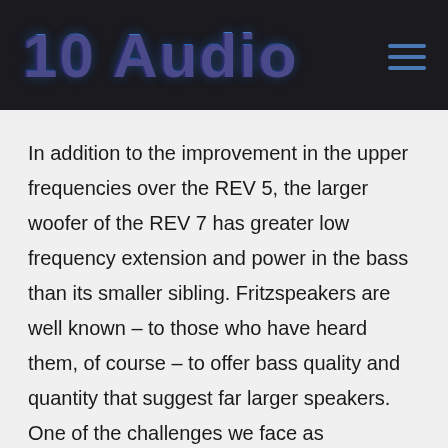10 Audio
In addition to the improvement in the upper frequencies over the REV 5, the larger woofer of the REV 7 has greater low frequency extension and power in the bass than its smaller sibling. Fritzspeakers are well known – to those who have heard them, of course – to offer bass quality and quantity that suggest far larger speakers. One of the challenges we face as audiophiles is to install speakers that work well in our listening rooms, coupling to the size and configuration